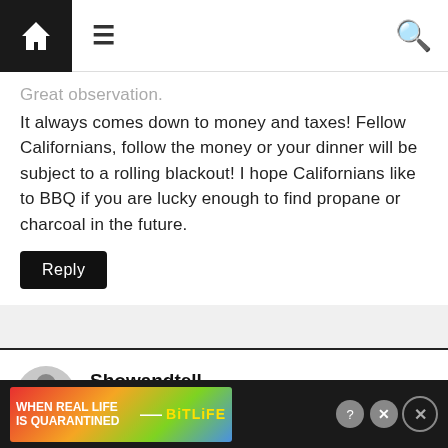Navigation bar with home, menu, and search icons
Great observation. It always comes down to money and taxes! Fellow Californians, follow the money or your dinner will be subject to a rolling blackout! I hope Californians like to BBQ if you are lucky enough to find propane or charcoal in the future.
Reply
Showandtell
May 12, 2021 at 10:32 am
No kidding, Cali Girl. I have always had trouble with “following the money,” for reasons I’m sure you already know, but dang-it, it’s
[Figure (other): Advertisement banner: BitLife app ad with rainbow background, text WHEN REAL LIFE IS QUARANTINED, BitLife logo, emoji face with stars and thumbs up]